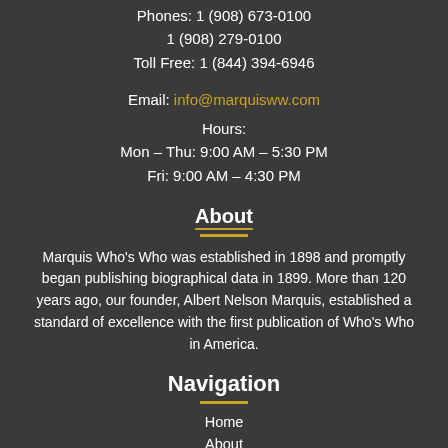Phones: 1 (908) 673-0100
1 (908) 279-0100
Toll Free: 1 (844) 394-6946
Email: info@marquisww.com
Hours:
Mon – Thu: 9:00 AM – 5:30 PM
Fri: 9:00 AM – 4:30 PM
About
Marquis Who's Who was established in 1898 and promptly began publishing biographical data in 1899. More than 120 years ago, our founder, Albert Nelson Marquis, established a standard of excellence with the first publication of Who's Who in America.
Navigation
Home
About
Publications